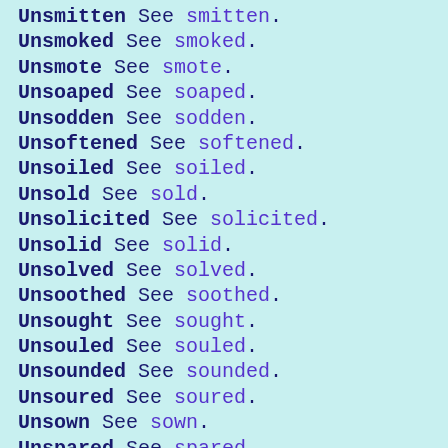Unsmitten  See smitten.
Unsmoked  See smoked.
Unsmote  See smote.
Unsoaped  See soaped.
Unsodden  See sodden.
Unsoftened  See softened.
Unsoiled  See soiled.
Unsold  See sold.
Unsolicited  See solicited.
Unsolid  See solid.
Unsolved  See solved.
Unsoothed  See soothed.
Unsought  See sought.
Unsouled  See souled.
Unsounded  See sounded.
Unsoured  See soured.
Unsown  See sown.
Unspared  See spared.
Unspecified  See specified.
Unspecked  See specked.